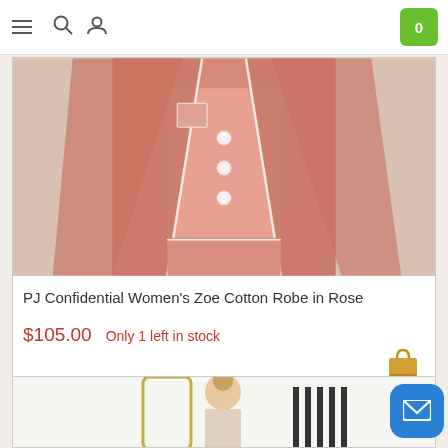Navigation bar with menu, search, user icons and cart (0)
[Figure (photo): Pink cotton robe product photo showing a woman wearing a rose-colored robe and matching pajama set]
PJ Confidential Women's Zoe Cotton Robe in Rose
$105.00  Only 1 left in stock
[Figure (photo): Partial product photo at bottom of page showing a person near a mirror]